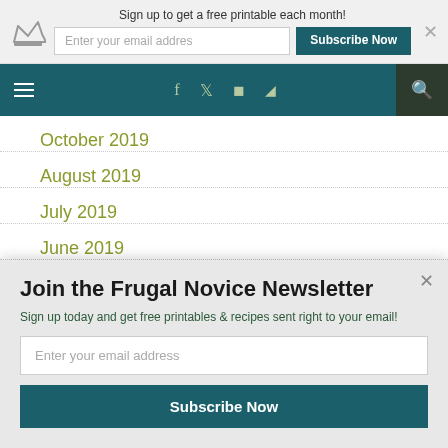Sign up to get a free printable each month!
Enter your email addres
Subscribe Now
October 2019
August 2019
July 2019
June 2019
May 2019
Join the Frugal Novice Newsletter
Sign up today and get free printables & recipes sent right to your email!
Enter your email address
Subscribe Now